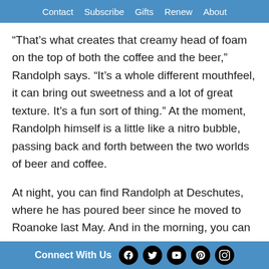Contact   Subscribe   Gifts   Renew   About
“That’s what creates that creamy head of foam on the top of both the coffee and the beer,” Randolph says. “It’s a whole different mouthfeel, it can bring out sweetness and a lot of great texture. It’s a fun sort of thing.” At the moment, Randolph himself is a little like a nitro bubble, passing back and forth between the two worlds of beer and coffee.
At night, you can find Randolph at Deschutes, where he has poured beer since he moved to Roanoke last May. And in the morning, you can find him pouring coffee at Roasters Next Door,
Connect With Us